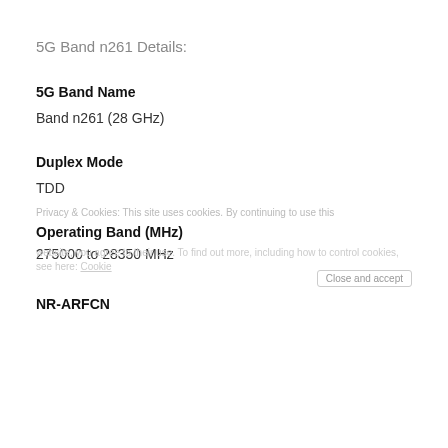5G Band n261 Details:
5G Band Name
Band n261 (28 GHz)
Duplex Mode
TDD
Operating Band (MHz)
275000 to 28350 MHz
NR-ARFCN